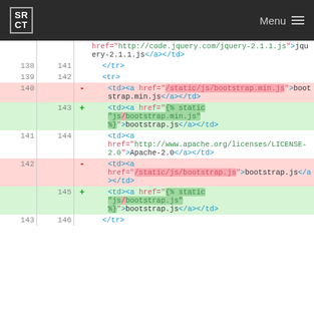SR CT   Menu
[Figure (screenshot): Code diff view showing HTML table cell code changes. Lines 138-146 shown with old and new line numbers, deletions highlighted in pink and additions in green. Code shows jQuery and Bootstrap JS file references being changed from absolute paths to Django template static tag references.]